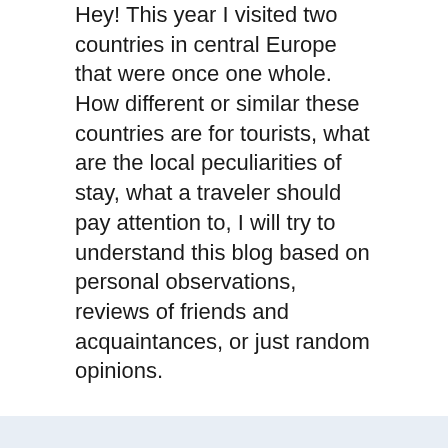Hey! This year I visited two countries in central Europe that were once one whole. How different or similar these countries are for tourists, what are the local peculiarities of stay, what a traveler should pay attention to, I will try to understand this blog based on personal observations, reviews of friends and acquaintances, or just random opinions.
About us
Contact
Privacy Policy & Cookies
ATTENTION TO RIGHT HOLDERS! All materials are posted on the site strictly for